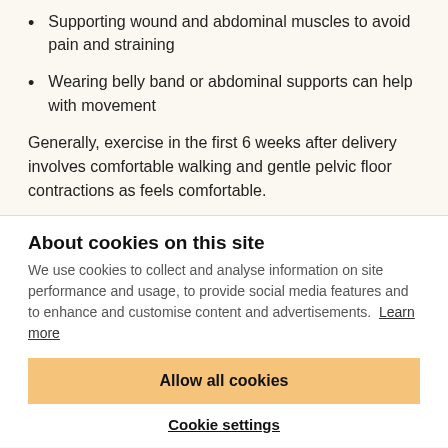Supporting wound and abdominal muscles to avoid pain and straining
Wearing belly band or abdominal supports can help with movement
Generally, exercise in the first 6 weeks after delivery involves comfortable walking and gentle pelvic floor contractions as feels comfortable.
About cookies on this site
We use cookies to collect and analyse information on site performance and usage, to provide social media features and to enhance and customise content and advertisements. Learn more
Allow all cookies
Cookie settings